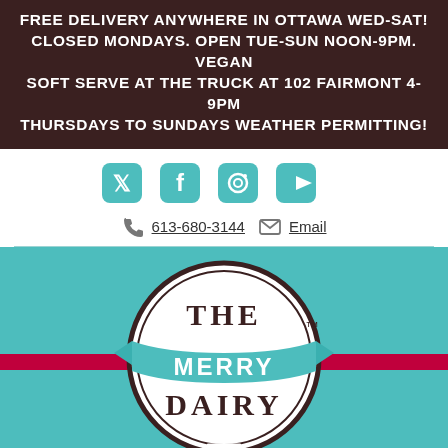FREE DELIVERY ANYWHERE IN OTTAWA WED-SAT! CLOSED MONDAYS. OPEN TUE-SUN NOON-9PM. VEGAN SOFT SERVE AT THE TRUCK AT 102 FAIRMONT 4-9PM THURSDAYS TO SUNDAYS WEATHER PERMITTING!
[Figure (logo): Social media icons: Twitter, Facebook, Instagram, YouTube]
613-680-3144   Email
[Figure (logo): The Merry Dairy logo — circular badge with teal ribbon banner, on teal background with red bar]
LOVE LETTERS*